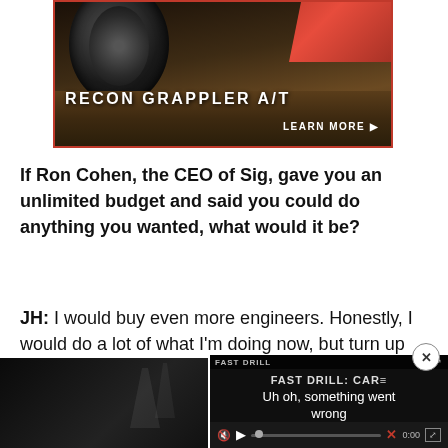[Figure (photo): Advertisement banner for Recon Grappler A/T tire with dark background showing tire tread and truck, with 'RECON GRAPPLER A/T' text and 'LEARN MORE' call to action button]
If Ron Cohen, the CEO of Sig, gave you an unlimited budget and said you could do anything you wanted, what would it be?
JH: I would buy even more engineers. Honestly, I would do a lot of what I'm doing now, but turn up the volume.
[Figure (screenshot): Embedded video player showing 'FAST DRILL: CAR' with error message 'Uh oh, something went wrong' and video controls including play button, progress bar, X button, timestamp 0:00, and fullscreen button. Also shows close X button overlay.]
[Figure (photo): Bottom left portion of page showing a dark/black video thumbnail or image]